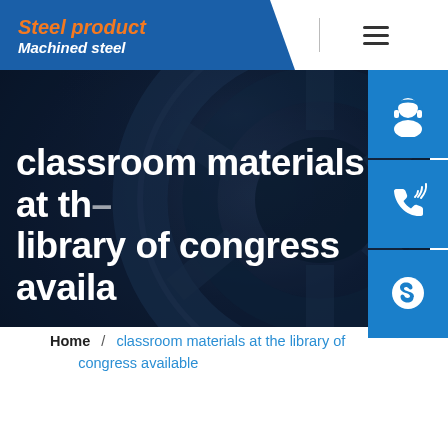[Figure (screenshot): Website screenshot showing a steel product company page with logo 'Steel product / Machined steel', a dark hero image with steel machinery, and navigation elements]
classroom materials at the library of congress available
Home / classroom materials at the library of congress available